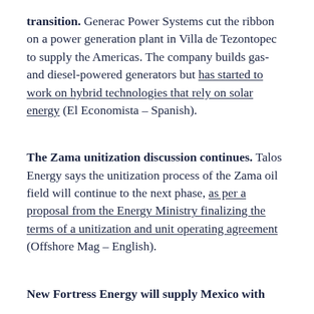transition. Generac Power Systems cut the ribbon on a power generation plant in Villa de Tezontopec to supply the Americas. The company builds gas- and diesel-powered generators but has started to work on hybrid technologies that rely on solar energy (El Economista – Spanish).
The Zama unitization discussion continues. Talos Energy says the unitization process of the Zama oil field will continue to the next phase, as per a proposal from the Energy Ministry finalizing the terms of a unitization and unit operating agreement (Offshore Mag – English).
New Fortress Energy will supply Mexico with